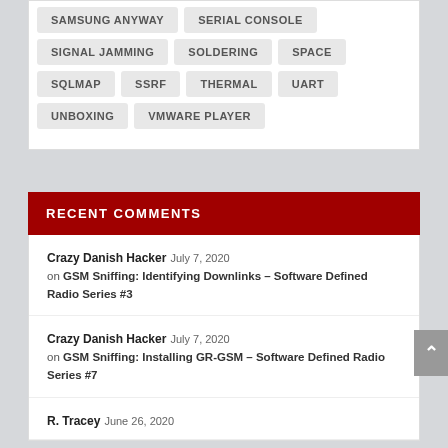SAMSUNG ANYWAY
SERIAL CONSOLE
SIGNAL JAMMING
SOLDERING
SPACE
SQLMAP
SSRF
THERMAL
UART
UNBOXING
VMWARE PLAYER
RECENT COMMENTS
Crazy Danish Hacker July 7, 2020 on GSM Sniffing: Identifying Downlinks – Software Defined Radio Series #3
Crazy Danish Hacker July 7, 2020 on GSM Sniffing: Installing GR-GSM – Software Defined Radio Series #7
R. Tracey June 26, 2020